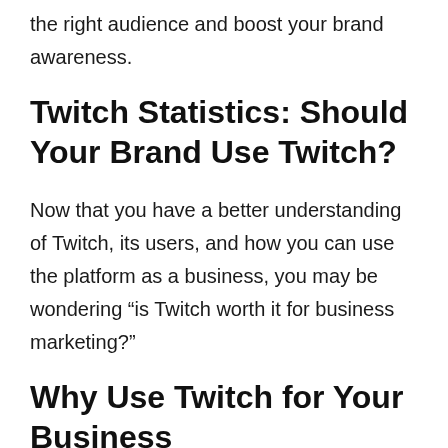the right audience and boost your brand awareness.
Twitch Statistics: Should Your Brand Use Twitch?
Now that you have a better understanding of Twitch, its users, and how you can use the platform as a business, you may be wondering “is Twitch worth it for business marketing?”
Why Use Twitch for Your Business
Twitch has a massive, diverse audience,